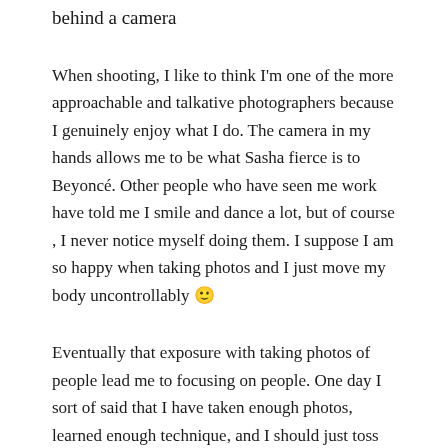behind a camera
When shooting, I like to think I'm one of the more approachable and talkative photographers because I genuinely enjoy what I do. The camera in my hands allows me to be what Sasha fierce is to Beyoncé. Other people who have seen me work have told me I smile and dance a lot, but of course , I never notice myself doing them. I suppose I am so happy when taking photos and I just move my body uncontrollably 🙂
Eventually that exposure with taking photos of people lead me to focusing on people. One day I sort of said that I have taken enough photos, learned enough technique, and I should just toss myself out there. Within my first week of posting a random ad on craigslist, I booked my first gig to photograph a school teachers session where the kids were creating artwork for a book she was going to publish. Fast forward a